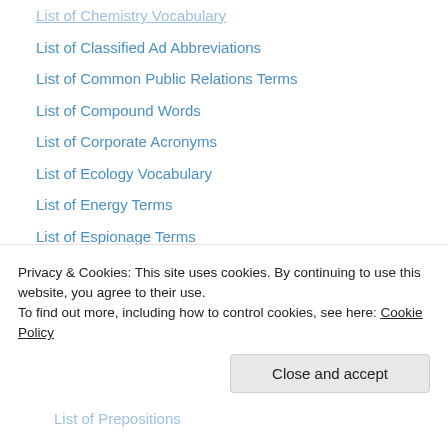List of Chemistry Vocabulary
List of Classified Ad Abbreviations
List of Common Public Relations Terms
List of Compound Words
List of Corporate Acronyms
List of Ecology Vocabulary
List of Energy Terms
List of Espionage Terms
List of Food Adjectives
List of Frauds
List of Heteropalindromes
List of Homophones
List of Idioms
List of Literary Devices (partial)
List of Prepositions (partial)
Privacy & Cookies: This site uses cookies. By continuing to use this website, you agree to their use. To find out more, including how to control cookies, see here: Cookie Policy